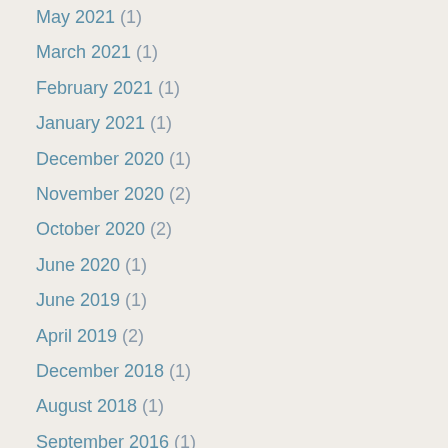May 2021 (1)
March 2021 (1)
February 2021 (1)
January 2021 (1)
December 2020 (1)
November 2020 (2)
October 2020 (2)
June 2020 (1)
June 2019 (1)
April 2019 (2)
December 2018 (1)
August 2018 (1)
September 2016 (1)
August 2016 (1)